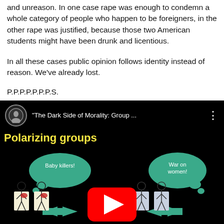and unreason. In one case rape was enough to condemn a whole category of people who happen to be foreigners, in the other rape was justified, because those two American students might have been drunk and licentious.
In all these cases public opinion follows identity instead of reason. We've already lost.
P.P.P.P.P.P.P.S.
[Figure (screenshot): YouTube video thumbnail showing 'The Dark Side of Morality: Group ...' with subtitle 'Polarizing groups', featuring stick figures with thought bubbles saying 'Baby killers!' and 'War on women!' and a YouTube play button in the center]